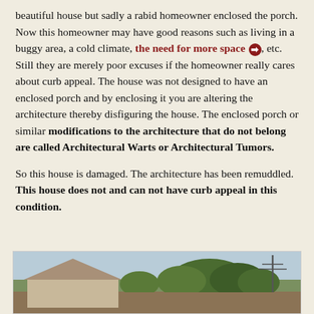beautiful house but sadly a rabid homeowner enclosed the porch. Now this homeowner may have good reasons such as living in a buggy area, a cold climate, the need for more space ➡, etc. Still they are merely poor excuses if the homeowner really cares about curb appeal. The house was not designed to have an enclosed porch and by enclosing it you are altering the architecture thereby disfiguring the house. The enclosed porch or similar modifications to the architecture that do not belong are called Architectural Warts or Architectural Tumors.
So this house is damaged. The architecture has been remuddled. This house does not and can not have curb appeal in this condition.
[Figure (photo): Partial view of a house exterior with trees and utility poles visible against a light sky.]